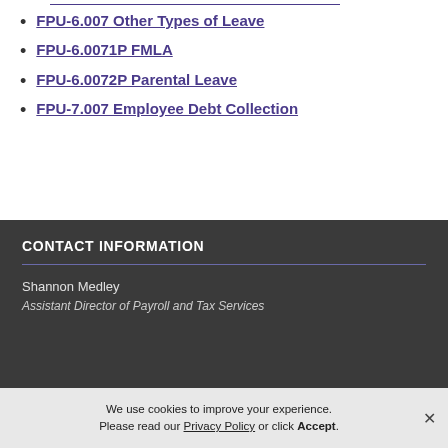FPU-6.007 Other Types of Leave
FPU-6.0071P FMLA
FPU-6.0072P Parental Leave
FPU-7.007 Employee Debt Collection
CONTACT INFORMATION
Shannon Medley
Assistant Director of Payroll and Tax Services
We use cookies to improve your experience. Please read our Privacy Policy or click Accept.